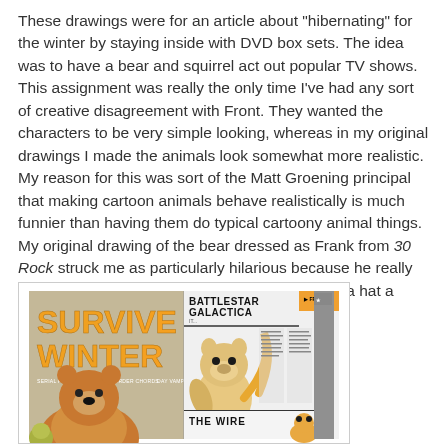These drawings were for an article about "hibernating" for the winter by staying inside with DVD box sets. The idea was to have a bear and squirrel act out popular TV shows. This assignment was really the only time I've had any sort of creative disagreement with Front. They wanted the characters to be very simple looking, whereas in my original drawings I made the animals look somewhat more realistic. My reason for this was sort of the Matt Groening principal that making cartoon animals behave realistically is much funnier than having them do typical cartoony animal things. My original drawing of the bear dressed as Frank from 30 Rock struck me as particularly hilarious because he really looked like he had no idea why he was wearing a hat a glasses.
[Figure (photo): A photograph of an open magazine spread showing illustrated covers/pages. The left page shows 'SURVIVE WINTER' in large orange text with cartoon bear and small character illustrations. The right page shows 'BATTLESTAR GALACTICA' header with a cartoon squirrel/character illustration and text columns, as well as a 'THE WIRE' section at the bottom with another character.]